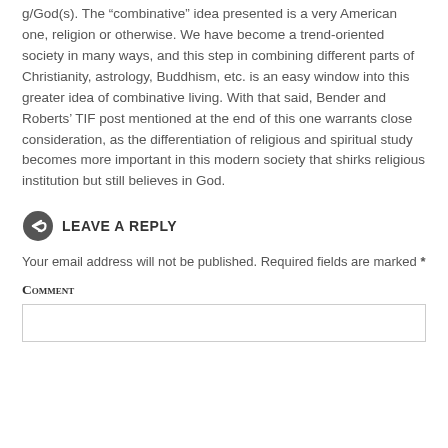g/God(s). The “combinative” idea presented is a very American one, religion or otherwise. We have become a trend-oriented society in many ways, and this step in combining different parts of Christianity, astrology, Buddhism, etc. is an easy window into this greater idea of combinative living. With that said, Bender and Roberts’ TIF post mentioned at the end of this one warrants close consideration, as the differentiation of religious and spiritual study becomes more important in this modern society that shirks religious institution but still believes in God.
LEAVE A REPLY
Your email address will not be published. Required fields are marked *
Comment